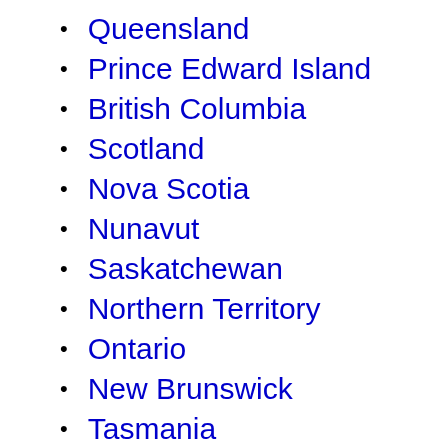Queensland
Prince Edward Island
British Columbia
Scotland
Nova Scotia
Nunavut
Saskatchewan
Northern Territory
Ontario
New Brunswick
Tasmania